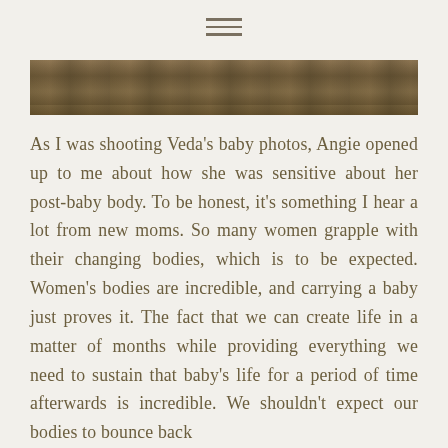[Figure (photo): Partial outdoor photo strip showing a natural landscape scene with earth tones — grass, dirt, and what appears to be a person in a field setting]
As I was shooting Veda's baby photos, Angie opened up to me about how she was sensitive about her post-baby body. To be honest, it's something I hear a lot from new moms. So many women grapple with their changing bodies, which is to be expected. Women's bodies are incredible, and carrying a baby just proves it. The fact that we can create life in a matter of months while providing everything we need to sustain that baby's life for a period of time afterwards is incredible. We shouldn't expect our bodies to bounce back